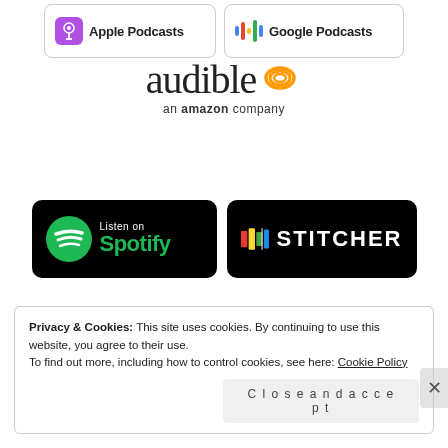[Figure (logo): Apple Podcasts badge with purple podcast icon and text 'Apple Podcasts']
[Figure (logo): Google Podcasts badge with colorful bar icon and text 'Google Podcasts']
[Figure (logo): Audible logo with orange wifi-style icon, text 'audible' and 'an amazon company']
[Figure (logo): Spotify 'Listen on Spotify' badge with green Spotify circle logo on black background]
[Figure (logo): Stitcher badge with colored squares logo and 'STITCHER' text on black background]
[Figure (logo): Libsyn 'Available on libsyn' badge with green leaf logo on dark background]
Privacy & Cookies: This site uses cookies. By continuing to use this website, you agree to their use.
To find out more, including how to control cookies, see here: Cookie Policy
Close and accept